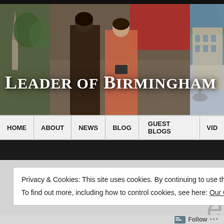[Figure (photo): Composite banner image showing Birmingham scenes: two women talking on a street, a woodland with bluebells, and a classical Birmingham building with fountain. Text overlay reads 'Leader of Birmingham'.]
Leader of Birmingham
HOME | ABOUT | NEWS | BLOG | GUEST BLOGS | VID
Privacy & Cookies: This site uses cookies. By continuing to use this website, you agree to their use.
To find out more, including how to control cookies, see here: Our Cookie Policy
Close and accept
Follow